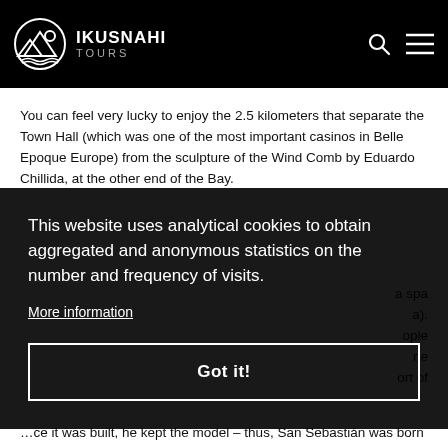IKUSNAHI TOURS
You can feel very lucky to enjoy the 2.5 kilometers that separate the Town Hall (which was one of the most important casinos in Belle Epoque Europe) from the sculpture of the Wind Comb by Eduardo Chillida, at the other end of the Bay.
a spa a). ople ne ort of
This website uses analytical cookies to obtain aggregated and anonymous statistics on the number and frequency of visits.
More information
Got it!
ce it was built, he kept the model – thus, San Sebastián was born